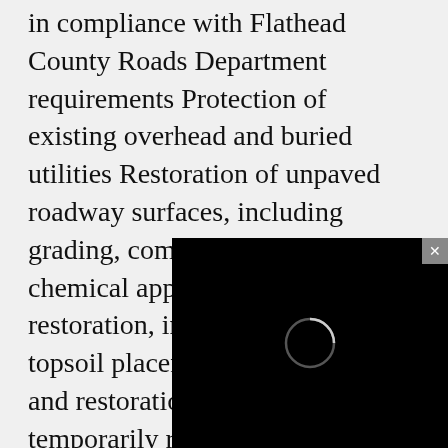in compliance with Flathead County Roads Department requirements Protection of existing overhead and buried utilities Restoration of unpaved roadway surfaces, including grading, compaction rolling and chemical application Site restoration, including grading, topsoil placement, hydroseeding, and restoration/replacement of temporarily removed surface features including but not limited to fencing. A complete set of Plans and Bidding Requirements and [text obscured] may be obtained o[n] [text obscured] on Montanabid.co[m text obscured] discussed to intere[sted parties text obscured] [location] on May 4, 2023. Interested [parties...]
[Figure (other): Black overlay panel (video player or popup) covering the lower-right portion of the page, with a small circular loading/play indicator in the center and a gray close button (×) in the top-right corner.]